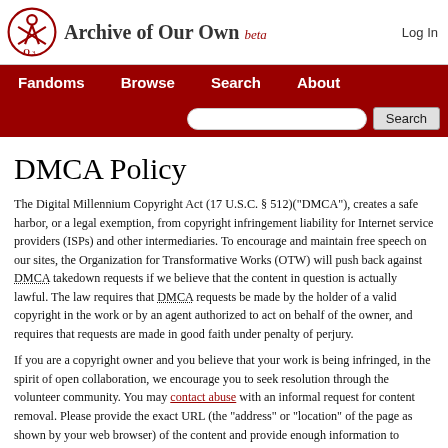Archive of Our Own beta | Log In
DMCA Policy
The Digital Millennium Copyright Act (17 U.S.C. § 512)("DMCA"), creates a safe harbor, or a legal exemption, from copyright infringement liability for Internet service providers (ISPs) and other intermediaries. To encourage and maintain free speech on our sites, the Organization for Transformative Works (OTW) will push back against DMCA takedown requests if we believe that the content in question is actually lawful. The law requires that DMCA requests be made by the holder of a valid copyright in the work or by an agent authorized to act on behalf of the owner, and requires that requests are made in good faith under penalty of perjury.
If you are a copyright owner and you believe that your work is being infringed, in the spirit of open collaboration, we encourage you to seek resolution through the volunteer community. You may contact abuse with an informal request for content removal. Please provide the exact URL (the "address" or "location" of the page as shown by your web browser) of the content and provide enough information to substantiate your claim of